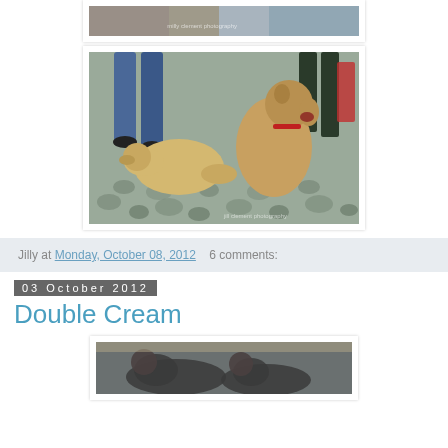[Figure (photo): Top partial photo showing dogs on cobblestone ground, partially cropped]
[Figure (photo): Two golden retriever dogs on cobblestone ground with people's legs visible, one dog sitting and one lying down]
Jilly at Monday, October 08, 2012   6 comments:
03 October 2012
Double Cream
[Figure (photo): Partial bottom photo showing what appears to be cats or animals, cropped at page bottom]